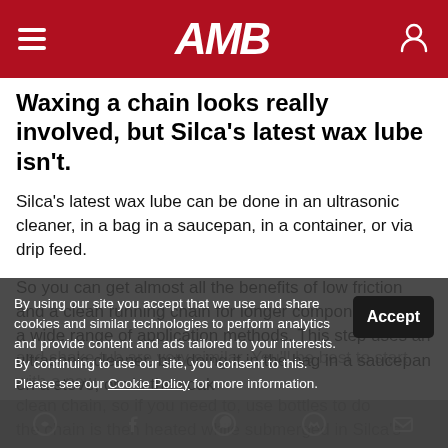AMB
Waxing a chain looks really involved, but Silca's latest wax lube isn't.
Silca's latest wax lube can be done in an ultrasonic cleaner, in a bag in a saucepan, in a container, or via drip feed.
So you can get almost all the benefits of low friction and a clean running chain for longer component life via a wide range of application methods. This step uses an ultrasonic cleaner, but doing it in the bag in a saucepan on a stove, or via the soak and shake tub are very similar. You'll be best to start with a clean chain, so if you need to, use bottles to do this. The chain is then heated while submerged in Silca's Secret of dewatering fluid, onto the chain, then allowed to cool. Silca Staff Shop
By using our site you accept that we use and share cookies and similar technologies to perform analytics and provide content and ads tailored to your interests. By continuing to use our site, you consent to this. Please see our Cookie Policy for more information.